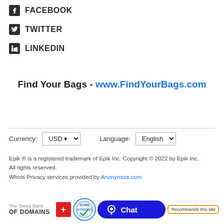FACEBOOK
TWITTER
LINKEDIN
Find Your Bags - www.FindYourBags.com
Currency: USD   Language: English
Epik ® is a registered trademark of Epik Inc. Copyright © 2022 by Epik Inc. All rights reserved.
Whois Privacy services provided by Anonymize.com
[Figure (logo): Swiss Bank OF DOMAINS logo with red cross badge, ICANN accredited badge, and Chat button with Recommends this site label]